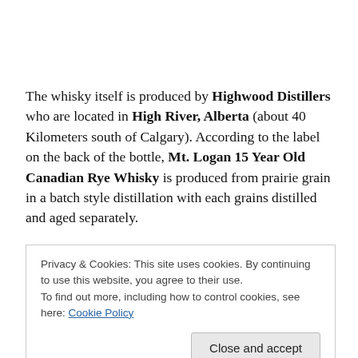The whisky itself is produced by Highwood Distillers who are located in High River, Alberta (about 40 Kilometers south of Calgary). According to the label on the back of the bottle, Mt. Logan 15 Year Old Canadian Rye Whisky is produced from prairie grain in a batch style distillation with each grains distilled and aged separately.
Privacy & Cookies: This site uses cookies. By continuing to use this website, you agree to their use.
To find out more, including how to control cookies, see here: Cookie Policy